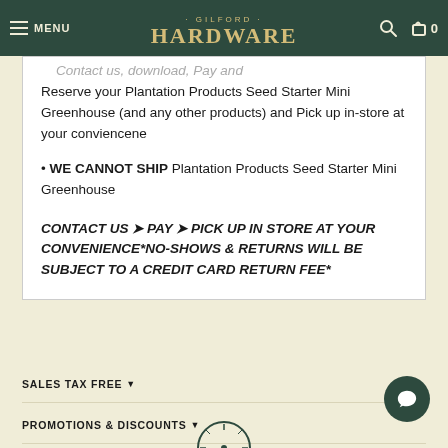MENU | GILFORD HARDWARE | 0
Contact us, download, Pay and Reserve your Plantation Products Seed Starter Mini Greenhouse (and any other products) and Pick up in-store at your conviencene
WE CANNOT SHIP Plantation Products Seed Starter Mini Greenhouse
CONTACT US ➤ PAY ➤ PICK UP IN STORE AT YOUR CONVENIENCE*NO-SHOWS & RETURNS WILL BE SUBJECT TO A CREDIT CARD RETURN FEE*
SALES TAX FREE ▼
PROMOTIONS & DISCOUNTS ▼